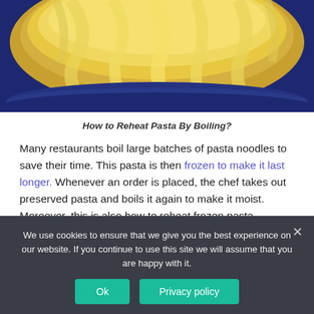[Figure (photo): Close-up photo of pasta noodles in a blue bowl, showing yellow/cream colored pasta with a blue ceramic bowl rim visible at the bottom]
How to Reheat Pasta By Boiling?
Many restaurants boil large batches of pasta noodles to save their time. This pasta is then frozen to make it last longer. Whenever an order is placed, the chef takes out preserved pasta and boils it again to make it moist. Moreover, this is also how to reheat frozen pasta. However, make sure that you don't let it sit in the boiling water for an extensive period of time, or
We use cookies to ensure that we give you the best experience on our website. If you continue to use this site we will assume that you are happy with it.